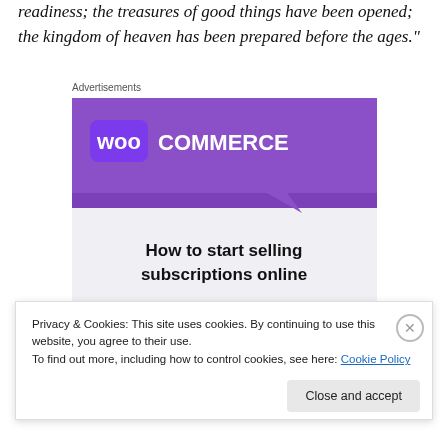readiness; the treasures of good things have been opened; the kingdom of heaven has been prepared before the ages."
Advertisements
[Figure (illustration): WooCommerce advertisement banner with purple header containing WooCommerce logo, teal and blue geometric shapes, and text 'How to start selling subscriptions online']
Privacy & Cookies: This site uses cookies. By continuing to use this website, you agree to their use.
To find out more, including how to control cookies, see here: Cookie Policy
Close and accept